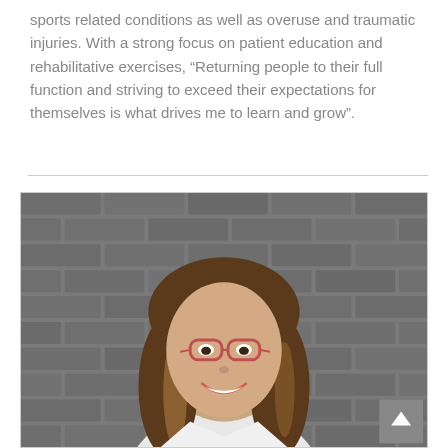sports related conditions as well as overuse and traumatic injuries. With a strong focus on patient education and rehabilitative exercises, “Returning people to their full function and striving to exceed their expectations for themselves is what drives me to learn and grow”.
[Figure (photo): Portrait photo of a young woman with long brown-blonde hair, wearing red-framed glasses and a white coat, smiling in front of a grey brick wall background.]